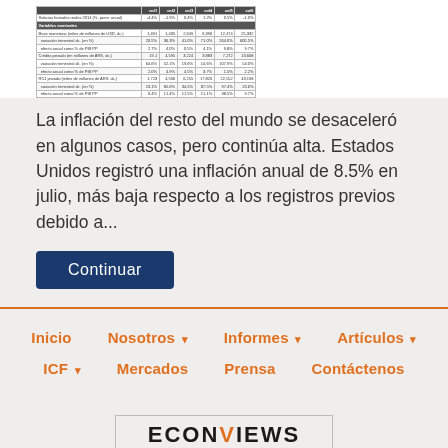|  | col1 | col2 | col3 | col4 | col5 | col6 |
| --- | --- | --- | --- | --- | --- | --- |
| Salarios formales reales 2014 (%, prom. anual) | -4.4% | -1.9% | 0.4% | 1.2% | 0.5% | -1.0% |
| Variables nominales |  |  |  |  |  |  |
| Base monetaria (miles de millones de USD, dc.) | 1,491 | 1,435 | 2,649 | 6,390 | 12,474 | 25,332 |
| variación trimestral dc. (en %) | 20.5% | 36.3% | 41.0% | 71.0% | 264.0% | 600.5% |
| efecto anual como % de PIB PP | 2.7% | 4.0% | 0.5% | 4.1% | 9.8% | 9.7% |
| Crédito privado (en millones de ARS, dc.) | 19.1 | 4,595 | 3,224 | 3,883 | 7,272 | 13,668 |
| variación trimestral dc. (en %) | 64.6% | 52.1% | 19.6% | 14.6% | 107.9% | 54.0% |
| efecto anual como % de PIB PP | 2.0% | 4.9% | 4.5% | 3.7% | 1.5% | 2.2% |
| RCJ privado (miles de millones de ARS, dc.) | 1,723 | 4,596 | 6,255 | 17,820 | 22,552 | 43,198 |
| variación trimestral dc. (en %) | 23.1% | 85.0% | 34.5% | 87.5% | 97.4% | 20.6% |
| efecto anual como % de PIB PP | 0.4% | 11.4% | 11.5% | 11.1% | 38.5% | 9.7% |
La inflación del resto del mundo se desaceleró en algunos casos, pero continúa alta. Estados Unidos registró una inflación anual de 8.5% en julio, más baja respecto a los registros previos debido a...
Continuar
Inicio  Nosotros  Informes  Artículos  ICF  Mercados  Prensa  Contáctenos
[Figure (logo): ECONVIEWS - Economía y Finanzas logo]